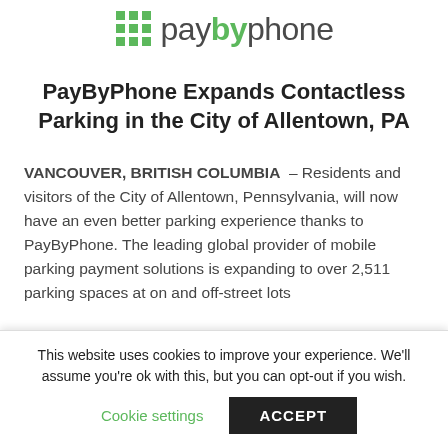[Figure (logo): PayByPhone logo with green grid icon and wordmark]
PayByPhone Expands Contactless Parking in the City of Allentown, PA
VANCOUVER, BRITISH COLUMBIA – Residents and visitors of the City of Allentown, Pennsylvania, will now have an even better parking experience thanks to PayByPhone. The leading global provider of mobile parking payment solutions is expanding to over 2,511 parking spaces at on and off-street lots
This website uses cookies to improve your experience. We'll assume you're ok with this, but you can opt-out if you wish.
Cookie settings  ACCEPT